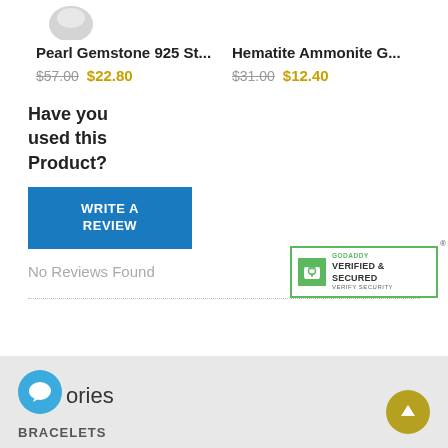[Figure (photo): Partial product image visible at top left (jewelry item, partially cropped)]
Pearl Gemstone 925 St...
$57.00  $22.80
Hematite Ammonite G...
$31.00  $12.40
Have you used this Product?
WRITE A REVIEW
No Reviews Found
[Figure (logo): GoDaddy Verified & Secured badge with lock icon and green border]
ories  BRACELETS